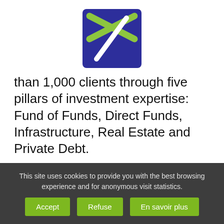[Figure (logo): Ardian logo — dark blue square with green and white X/arrow shape]
than 1,000 clients through five pillars of investment expertise: Fund of Funds, Direct Funds, Infrastructure, Real Estate and Private Debt.
www.ardian.com
About APG Group NV
APG is the largest pension delivery organization in the Netherlands; its approximately 3,000
This site uses cookies to provide you with the best browsing experience and for anonymous visit statistics.